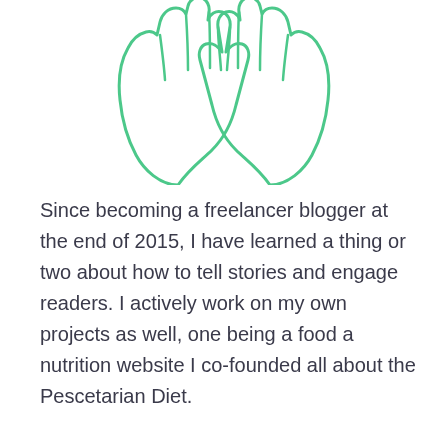[Figure (illustration): Outline illustration of two hands pressed together (prayer or high-five gesture) in green line art style]
Since becoming a freelancer blogger at the end of 2015, I have learned a thing or two about how to tell stories and engage readers. I actively work on my own projects as well, one being a food a nutrition website I co-founded all about the Pescetarian Diet.